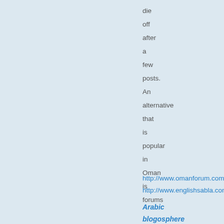die off after a few posts. An alternative that is popular in Oman is forums
http://www.omanforum.com
http://www.englishsabla.com
Arabic blogosphere Blogosphere